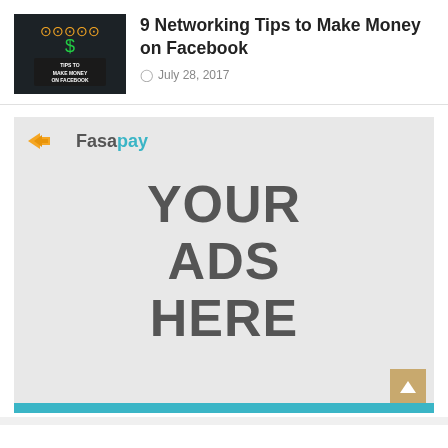9 Networking Tips to Make Money on Facebook
July 28, 2017
[Figure (other): Advertisement placeholder banner with FasaPay logo and YOUR ADS HERE text on grey background]